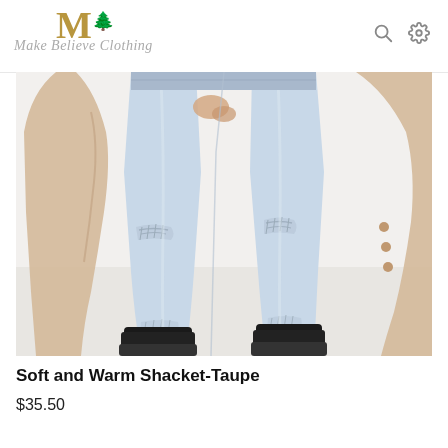Make Believe Clothing logo with search and settings icons
[Figure (photo): A model wearing light blue distressed ripped jeans and black chunky chelsea boots, with a soft taupe/beige shacket/jacket partially visible. The photo is cropped from waist down on a light grey/white background.]
Soft and Warm Shacket-Taupe
$35.50